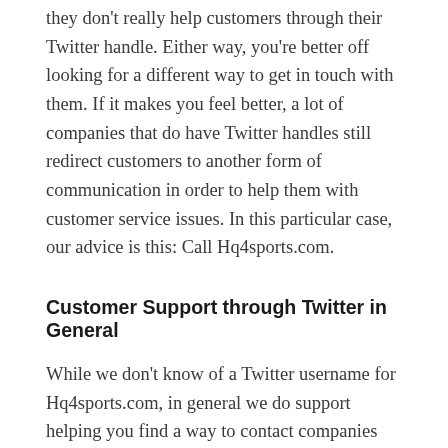they don't really help customers through their Twitter handle. Either way, you're better off looking for a different way to get in touch with them. If it makes you feel better, a lot of companies that do have Twitter handles still redirect customers to another form of communication in order to help them with customer service issues. In this particular case, our advice is this: Call Hq4sports.com.
Customer Support through Twitter in General
While we don't know of a Twitter username for Hq4sports.com, in general we do support helping you find a way to contact companies over Twitter for the purposes of handling customer service problems. With our problem-specific help tools, we help you create a page for your issue and then one-click to